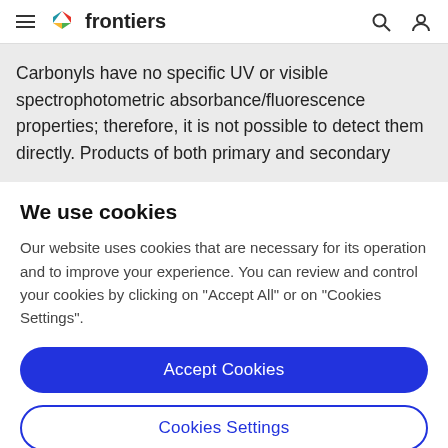frontiers
Carbonyls have no specific UV or visible spectrophotometric absorbance/fluorescence properties; therefore, it is not possible to detect them directly. Products of both primary and secondary
We use cookies
Our website uses cookies that are necessary for its operation and to improve your experience. You can review and control your cookies by clicking on "Accept All" or on "Cookies Settings".
Accept Cookies
Cookies Settings